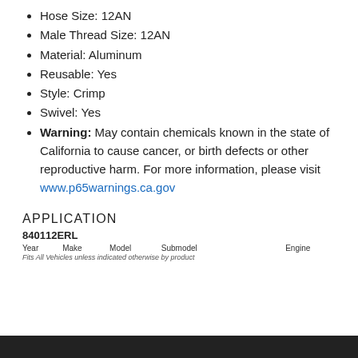Hose Size: 12AN
Male Thread Size: 12AN
Material: Aluminum
Reusable: Yes
Style: Crimp
Swivel: Yes
Warning: May contain chemicals known in the state of California to cause cancer, or birth defects or other reproductive harm. For more information, please visit www.p65warnings.ca.gov
APPLICATION
840112ERL
| Year | Make | Model | Submodel | Engine |
| --- | --- | --- | --- | --- |
Fits All Vehicles unless indicated otherwise by product